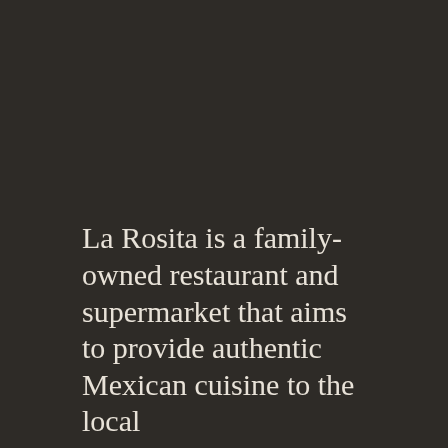[Figure (photo): Dark background image filling the upper portion of the page, depicting an indistinct dark scene (restaurant or supermarket interior).]
La Rosita is a family-owned restaurant and supermarket that aims to provide authentic Mexican cuisine to the local